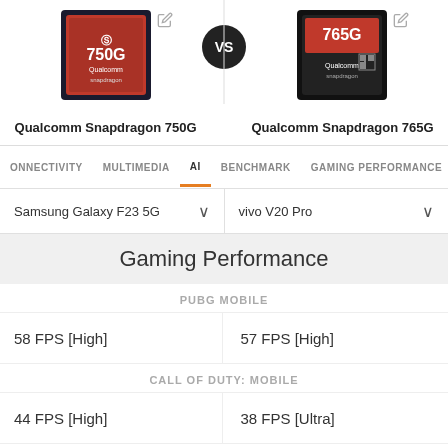[Figure (infographic): Qualcomm Snapdragon 750G chip logo on dark background with red branding]
[Figure (infographic): Qualcomm Snapdragon 765G chip logo on dark background with red branding]
Qualcomm Snapdragon 750G vs Qualcomm Snapdragon 765G
CONNECTIVITY  MULTIMEDIA  AI  BENCHMARK  GAMING PERFORMANCE
Samsung Galaxy F23 5G    vivo V20 Pro
Gaming Performance
PUBG MOBILE
| Snapdragon 750G | Snapdragon 765G |
| --- | --- |
| 58 FPS [High] | 57 FPS [High] |
| 44 FPS [High] | 38 FPS [Ultra] |
| 30 FPS [Medium] | 29 FPS [Medium] |
CALL OF DUTY: MOBILE
FORTNITE